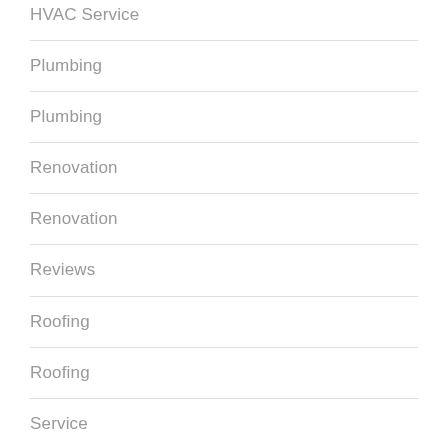HVAC Service
Plumbing
Plumbing
Renovation
Renovation
Reviews
Roofing
Roofing
Service